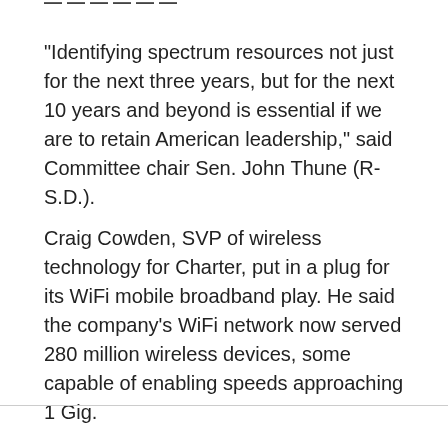"Identifying spectrum resources not just for the next three years, but for the next 10 years and beyond is essential if we are to retain American leadership," said Committee chair Sen. John Thune (R-S.D.).
Craig Cowden, SVP of wireless technology for Charter, put in a plug for its WiFi mobile broadband play. He said the company’s WiFi network now served 280 million wireless devices, some capable of enabling speeds approaching 1 Gig.